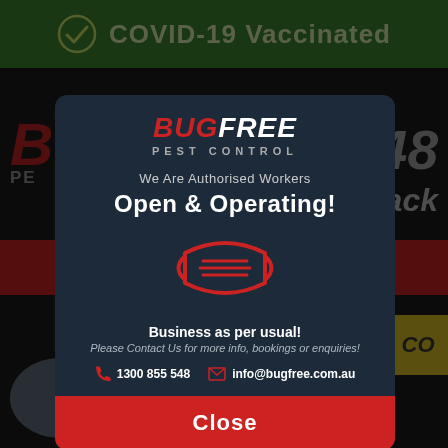[Figure (screenshot): Screenshot of BugFree Pest Control website with a COVID-19 popup modal. Green header bar shows COVID-19 Vaccinated with checkmark. Modal has BugFree Pest Control logo, text 'We Are Authorised Workers Open & Operating!' with a red face mask icon, business contact info, and a red Close button.]
COVID-19 Vaccinated
BUG FREE PEST CONTROL
We Are Authorised Workers
Open & Operating!
Business as per usual!
Please Contact Us for more info, bookings or enquiries!
1300 855 548
info@bugfree.com.au
Close
Affordable Prices